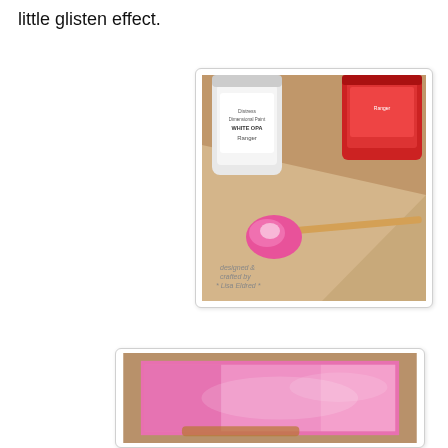little glisten effect.
[Figure (photo): Photo of two ink bottles (one white labeled 'Distress Dimensional Paint WHITE OPAL' by Ranger, one red-labeled) on a kraft paper surface with a wooden stylus tool applying pink/magenta paint, with watermark text 'designed & crafted by Lisa Eldred']
[Figure (photo): Photo of a pink/magenta ink-washed panel on cork/kraft background, partially visible at bottom of page]